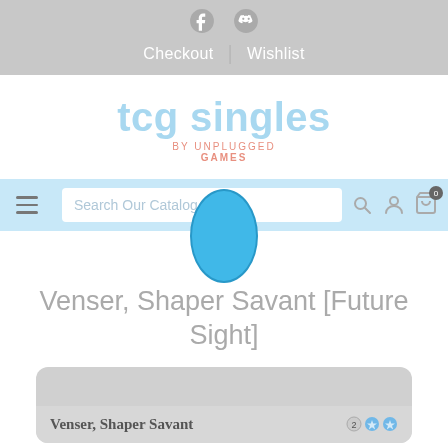Checkout | Wishlist
[Figure (logo): tcg singles by Unplugged Games logo in blue and coral]
[Figure (screenshot): Navigation bar with hamburger menu, search field reading 'Search Our Catalog', search icon, user icon, and cart icon with badge 0. A large blue oval shape overlays the center of the nav bar.]
Venser, Shaper Savant [Future Sight]
[Figure (photo): Bottom portion of a Magic: The Gathering card 'Venser, Shaper Savant' from Future Sight set, showing card name and mana cost 2UU]